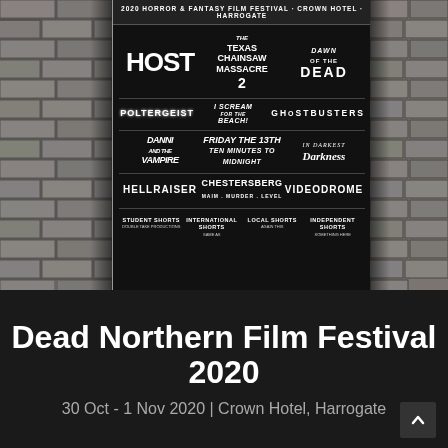[Figure (photo): Event poster for the 2020 Horror & Fantasy Film Festival at Crown Hotel, Harrogate, featuring film titles: HOST, The Texas Chainsaw Massacre 2, Dawn of the Dead, Poltergeist, I Scream for the Beach!, Ghostbusters, Danni and the Vampire, Friday the 13th, Ten Minutes to Midnight, In Darkest Darkness, Hellraiser, Chestersberg, Videodrome, with sections for Student Shorts, International Shorts, Local Shorts, and Independent Shorts. Flanked by brick wall imagery.]
Dead Northern Film Festival 2020
30 Oct - 1 Nov 2020 | Crown Hotel, Harrogate